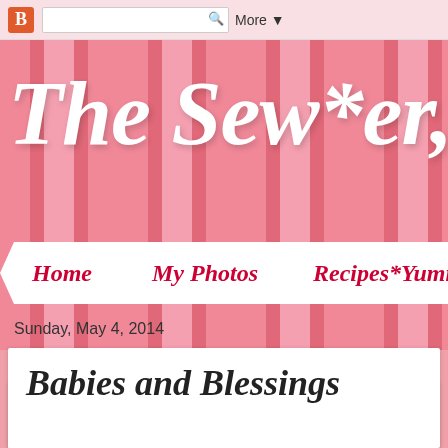[Figure (screenshot): Blogger navigation bar with orange Blogger icon, search box, and More dropdown button]
The Sew*er, The
[Figure (infographic): White ribbon navigation bar with links: Home, My Photos, Recipes*Yumm...]
Sunday, May 4, 2014
Babies and Blessings
[Figure (photo): Gray/beige image placeholder in lower right of post card]